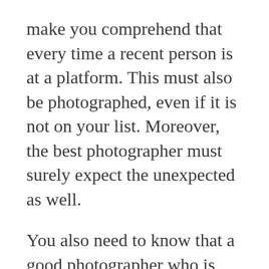make you comprehend that every time a recent person is at a platform. This must also be photographed, even if it is not on your list. Moreover, the best photographer must surely expect the unexpected as well.
You also need to know that a good photographer who is best with the people would help your attendees minimize the Infront of the camera. The professional photographer will always aspire to have different angles of the event too. Often a venue may not give the space to transfer around, but if the chance occurs a